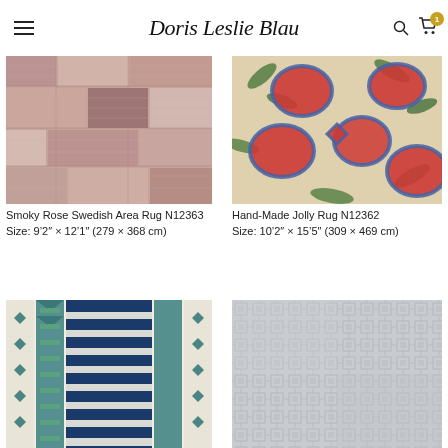Doris Leslie Blau
[Figure (photo): Smoky Rose Swedish Area Rug N12363 – geometric patchwork rug in muted rose, taupe, and grey tones]
Smoky Rose Swedish Area Rug N12363
Size: 9'2" × 12'1" (279 × 368 cm)
[Figure (photo): Hand-Made Jolly Rug N12362 – cream background rug with bold red and blue floral/leaf pattern]
Hand-Made Jolly Rug N12362
Size: 10'2" × 15'5" (309 × 469 cm)
[Figure (photo): Blue and green geometric Swedish-style area rug with stripe and diamond pattern]
[Figure (photo): Light grey textured flat-weave area rug with subtle geometric pattern]